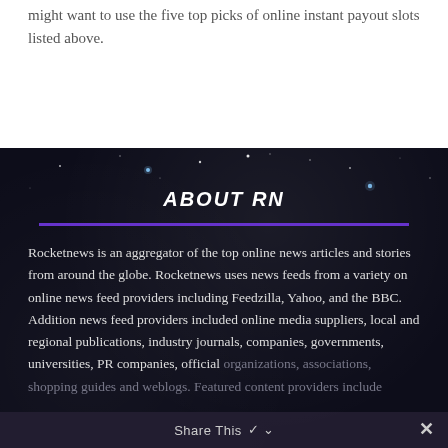might want to use the five top picks of online instant payout slots listed above.
ABOUT RN
Rocketnews is an aggregator of the top online news articles and stories from around the globe. Rocketnews uses news feeds from a variety on online news feed providers including Feedzilla, Yahoo, and the BBC. Addition news feed providers included online media suppliers, local and regional publications, industry journals, companies, governments, universities, PR companies, official organizations, associations, shopping guides and weblogs. Featured content providers include
Share This ✓